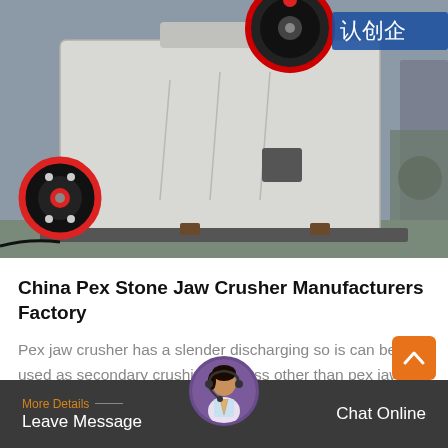[Figure (photo): Close-up photo of a large industrial jaw crusher machine in a factory setting. The machine is white/grey colored with a large red and black flywheel visible at the top. Red gear mechanisms are visible on the left side. Factory signage with Chinese characters visible in the background.]
China Pex Stone Jaw Crusher Manufacturers Factory
Pex jaw crusher has a slender discharging so is can be used as secondary crushing process other than pex jaw crusher machine we can also provid…
More Details — Leave Message   Chat Online